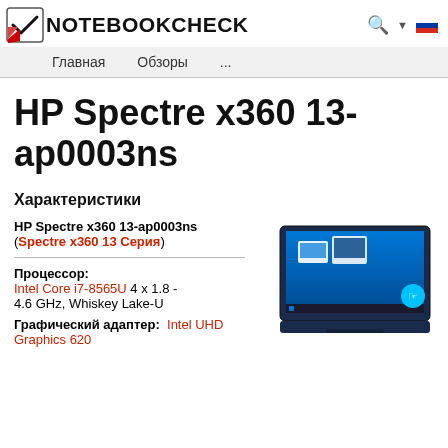NOTEBOOKCHECK — Главная  Обзоры  ...
HP Spectre x360 13-ap0003ns
Характеристики
HP Spectre x360 13-ap0003ns (Spectre x360 13 Серия)
Процессор: Intel Core i7-8565U 4 x 1.8 - 4.6 GHz, Whiskey Lake-U
Графический адаптер:  Intel UHD Graphics 620
[Figure (photo): HP Spectre x360 13-ap0003ns laptop product photo showing the open laptop with Windows 10 desktop displayed, in dark navy color with a touchscreen indicator icon]